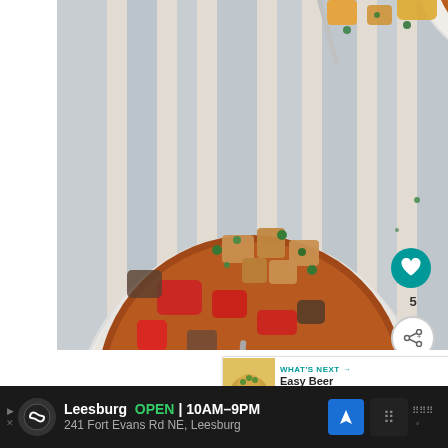[Figure (photo): Two white bowls of Fresh Vegetable Provencal Soup viewed from above on a blue and white striped cloth. The soup contains chunks of vegetables, red peppers, croutons, and fresh herbs in a reddish-brown broth.]
5
WHAT'S NEXT → Easy Beer Cheese Sou...
Fresh Vegetable Provencal Soup
Leesburg  OPEN | 10AM–9PM  241 Fort Evans Rd NE, Leesburg